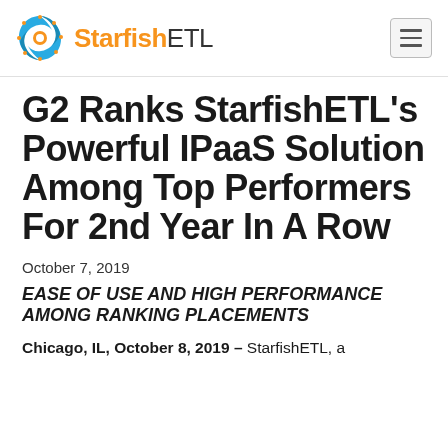StarfishETL
G2 Ranks StarfishETL's Powerful IPaaS Solution Among Top Performers For 2nd Year In A Row
October 7, 2019
EASE OF USE AND HIGH PERFORMANCE AMONG RANKING PLACEMENTS
Chicago, IL, October 8, 2019 – StarfishETL, a